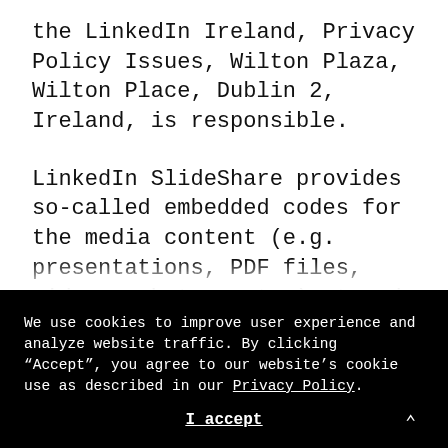the LinkedIn Ireland, Privacy Policy Issues, Wilton Plaza, Wilton Place, Dublin 2, Ireland, is responsible.
LinkedIn SlideShare provides so-called embedded codes for the media content (e.g. presentations, PDF files, videos, photos, etc.) stored there. Embedded codes are program codes that are embedded in the Internet pages to display external content on their own website.
We use cookies to improve user experience and analyze website traffic. By clicking "Accept", you agree to our website's cookie use as described in our Privacy Policy.
I accept